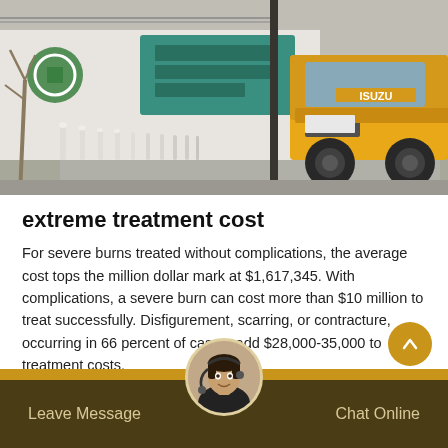[Figure (photo): Outdoor scene with a yellow ISUZU truck on a road lined with white bollards, passing a teal/green building with Chinese characters signage in the background.]
extreme treatment cost
For severe burns treated without complications, the average cost tops the million dollar mark at $1,617,345. With complications, a severe burn can cost more than $10 million to treat successfully. Disfigurement, scarring, or contracture, occurring in 66 percent of cases, add $28,000-35,000 to treatment costs.
Leave Message   Chat Online